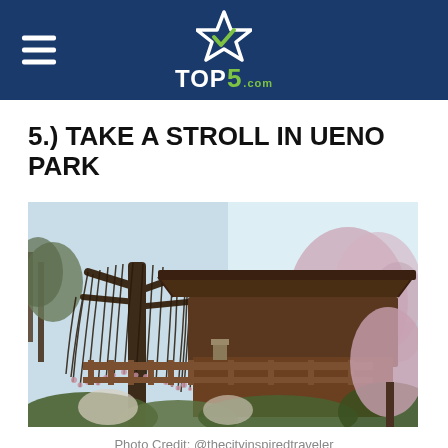TOP5.com
5.) TAKE A STROLL IN UENO PARK
[Figure (photo): Photograph of Ueno Park showing a large weeping cherry tree with bare drooping branches, a traditional Japanese temple/shrine roof structure in the background, and flowering trees. Photo taken in early spring.]
Photo Credit: @thecityinspiredtraveler